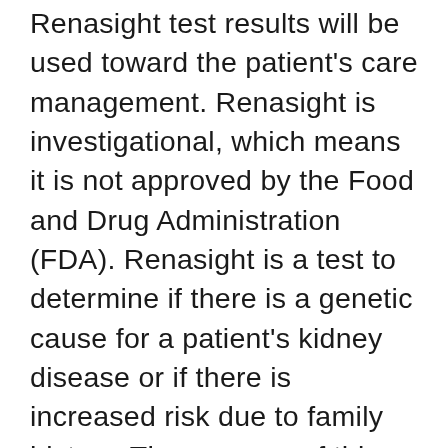Renasight test results will be used toward the patient's care management. Renasight is investigational, which means it is not approved by the Food and Drug Administration (FDA). Renasight is a test to determine if there is a genetic cause for a patient's kidney disease or if there is increased risk due to family history. The purpose of this study is to evaluate how Renasight helps in the diagnosis and management of patients with chronic kidney disease. Natera will analyze specific genes present in the DNA obtained from the blood or buccal swab samples provided by research subjects to provide additional genetic information about the